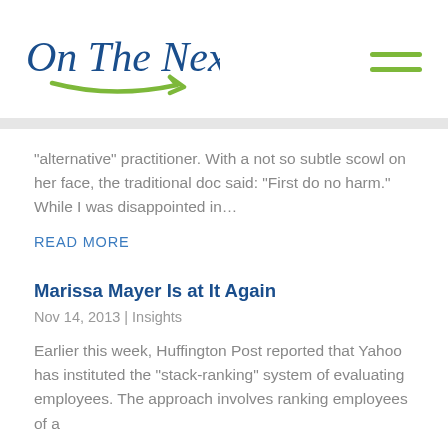[Figure (logo): On The Next Page logo — cursive blue text with green swoosh arrow underneath]
“alternative” practitioner. With a not so subtle scowl on her face, the traditional doc said: “First do no harm.” While I was disappointed in…
READ MORE
Marissa Mayer Is at It Again
Nov 14, 2013 | Insights
Earlier this week, Huffington Post reported that Yahoo has instituted the “stack-ranking” system of evaluating employees. The approach involves ranking employees of a